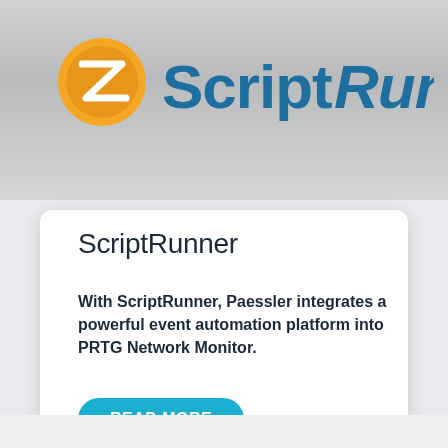[Figure (logo): ScriptRunner logo with orange/yellow circular icon and teal 'ScriptRunner' text on a silver/gray gradient banner background]
ScriptRunner
With ScriptRunner, Paessler integrates a powerful event automation platform into PRTG Network Monitor.
READ MORE